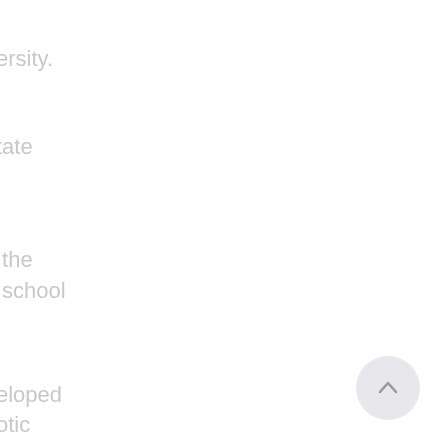ersity.
state
 the
 school
 eloped
otic
 rticles
gs in
He then
rated
ery at
s, CA,
 the
[Figure (other): Back to top button - circular grey button with upward chevron arrow]